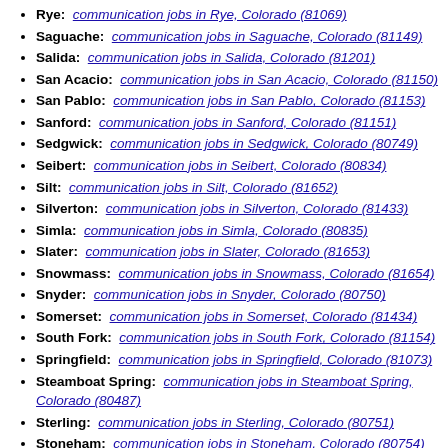Rye: communication jobs in Rye, Colorado (81069)
Saguache: communication jobs in Saguache, Colorado (81149)
Salida: communication jobs in Salida, Colorado (81201)
San Acacio: communication jobs in San Acacio, Colorado (81150)
San Pablo: communication jobs in San Pablo, Colorado (81153)
Sanford: communication jobs in Sanford, Colorado (81151)
Sedgwick: communication jobs in Sedgwick, Colorado (80749)
Seibert: communication jobs in Seibert, Colorado (80834)
Silt: communication jobs in Silt, Colorado (81652)
Silverton: communication jobs in Silverton, Colorado (81433)
Simla: communication jobs in Simla, Colorado (80835)
Slater: communication jobs in Slater, Colorado (81653)
Snowmass: communication jobs in Snowmass, Colorado (81654)
Snyder: communication jobs in Snyder, Colorado (80750)
Somerset: communication jobs in Somerset, Colorado (81434)
South Fork: communication jobs in South Fork, Colorado (81154)
Springfield: communication jobs in Springfield, Colorado (81073)
Steamboat Spring: communication jobs in Steamboat Spring, Colorado (80487)
Sterling: communication jobs in Sterling, Colorado (80751)
Stoneham: communication jobs in Stoneham, Colorado (80754)
Strasburg: communication jobs in Strasburg, Colorado (80136)
Stratton: communication jobs in Stratton, Colorado (80836)
Sugar City: communication jobs in Sugar City, Colorado (81076)
Telluride: communication jobs in Telluride, Colorado (81435)
Tincup: communication jobs in Tincup, Colorado (80000)